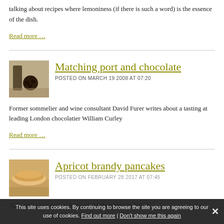talking about recipes where lemoniness (if there is such a word) is the essence of the dish.
Read more ...
[Figure (photo): Thumbnail image of port and chocolate items on a table]
Matching port and chocolate
POSTED ON MARCH 19 2008 AT 07:20
Former sommelier and wine consultant David Furer writes about a tasting at leading London chocolatier William Curley
Read more ...
[Figure (photo): Thumbnail image of apricot brandy pancakes]
Apricot brandy pancakes
POSTED ON FEBRUARY 28 2017 AT 07:45
Although apricots are obviously at their best in the
This site uses cookies. By continuing to browse the site you are agreeing to our use of cookies. Find out more | Don't show me this again